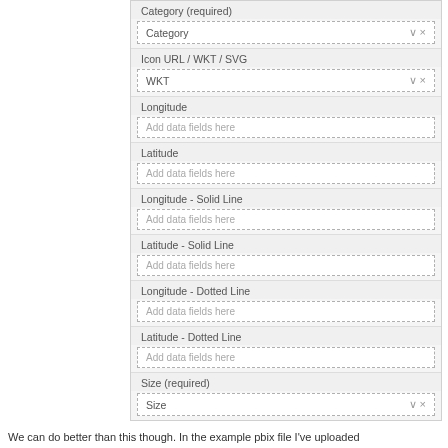[Figure (screenshot): A UI form panel showing multiple labeled fields: Category (required) with a dropdown showing 'Category', Icon URL / WKT / SVG with dropdown showing 'WKT', Longitude with 'Add data fields here', Latitude with 'Add data fields here', Longitude - Solid Line with 'Add data fields here', Latitude - Solid Line with 'Add data fields here', Longitude - Dotted Line with 'Add data fields here', Latitude - Dotted Line with 'Add data fields here', Size (required) with a dropdown showing 'Size'.]
We can do better than this though. In the example pbix file I've uploaded